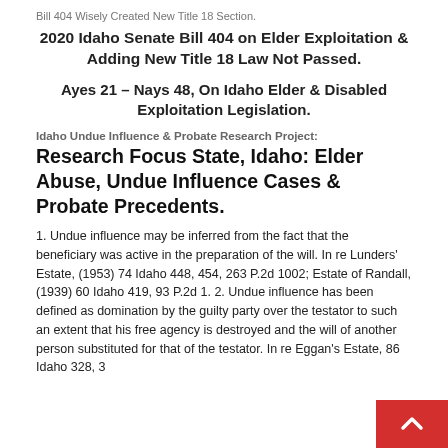Bill 404 Wisely Created New Title 18 Section.
2020 Idaho Senate Bill 404 on Elder Exploitation & Adding New Title 18 Law Not Passed.
Ayes 21 – Nays 48, On Idaho Elder & Disabled Exploitation Legislation.
Idaho Undue Influence & Probate Research Project:
Research Focus State, Idaho: Elder Abuse, Undue Influence Cases & Probate Precedents.
1. Undue influence may be inferred from the fact that the beneficiary was active in the preparation of the will. In re Lunders' Estate, (1953) 74 Idaho 448, 454, 263 P.2d 1002; Estate of Randall, (1939) 60 Idaho 419, 93 P.2d 1. 2. Undue influence has been defined as domination by the guilty party over the testator to such an extent that his free agency is destroyed and the will of another person substituted for that of the testator. In re Eggan's Estate, 86 Idaho 328, 3...